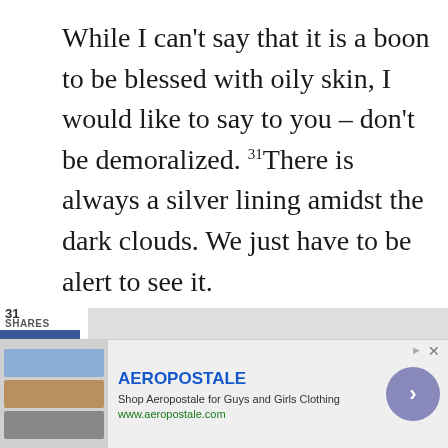While I can't say that it is a boon to be blessed with oily skin, I would like to say to you – don't be demoralized. There is always a silver lining amidst the dark clouds. We just have to be alert to see it.

While you go about setting your affairs in order about oily skin, I would
[Figure (infographic): Social sharing sidebar with Facebook (f), Twitter (bird), and Pinterest (P) buttons. Shows 31 SHARES count. Pinterest shows count of 31.]
[Figure (infographic): Advertisement banner for Aeropostale showing clothing images, brand name AEROPOSTALE, tagline 'Shop Aeropostale for Guys and Girls Clothing', URL www.aeropostale.com, and a navigation arrow button.]